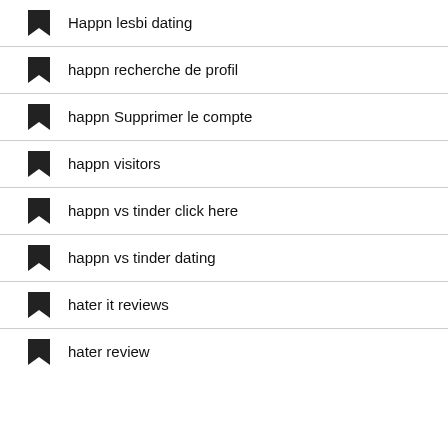Happn lesbi dating
happn recherche de profil
happn Supprimer le compte
happn visitors
happn vs tinder click here
happn vs tinder dating
hater it reviews
hater review